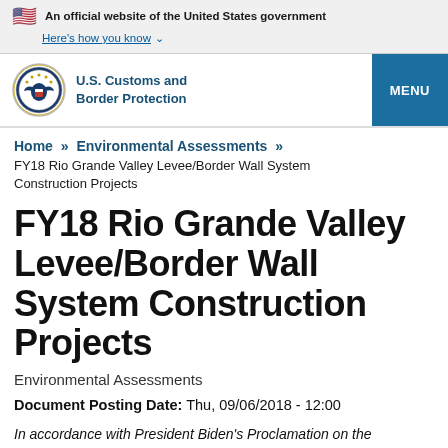An official website of the United States government
Here's how you know
[Figure (logo): U.S. Customs and Border Protection seal/logo with navigation header including MENU button]
Home » Environmental Assessments »
FY18 Rio Grande Valley Levee/Border Wall System Construction Projects
FY18 Rio Grande Valley Levee/Border Wall System Construction Projects
Environmental Assessments
Document Posting Date: Thu, 09/06/2018 - 12:00
In accordance with President Biden's Proclamation on the Termination of Emergency with Respect to the Southern Border of the U.S. and Redirection of Funds Diverted to Border Wall Construction, all border barrier construction